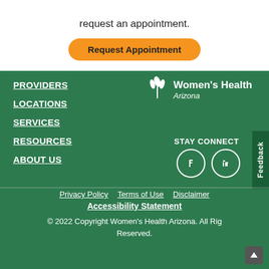request an appointment.
[Figure (other): Orange rounded button labeled 'Request Appointment']
PROVIDERS
LOCATIONS
SERVICES
RESOURCES
ABOUT US
[Figure (logo): Women's Health Arizona logo with leaf/plant icon]
STAY CONNECT
[Figure (other): Two circular social media icon buttons (Facebook and LinkedIn)]
Feedback
Privacy Policy   Terms of Use   Disclaimer
Accessibility Statement
© 2022 Copyright Women's Health Arizona. All Rights Reserved.